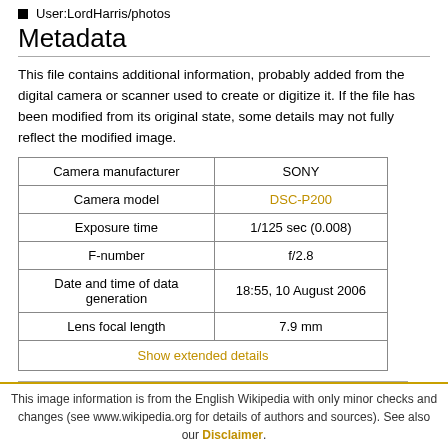User:LordHarris/photos
Metadata
This file contains additional information, probably added from the digital camera or scanner used to create or digitize it. If the file has been modified from its original state, some details may not fully reflect the modified image.
| Camera manufacturer | SONY |
| --- | --- |
| Camera model | DSC-P200 |
| Exposure time | 1/125 sec (0.008) |
| F-number | f/2.8 |
| Date and time of data generation | 18:55, 10 August 2006 |
| Lens focal length | 7.9 mm |
| Show extended details |  |
Category: User-created public domain images
This image information is from the English Wikipedia with only minor checks and changes (see www.wikipedia.org for details of authors and sources). See also our Disclaimer.